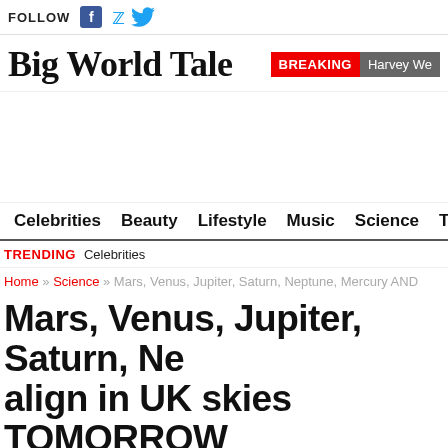FOLLOW
Big World Tale
BREAKING Harvey We
Celebrities  Beauty  Lifestyle  Music  Science  Travel
TRENDING  Celebrities
Home » Science » Mars, Venus, Jupiter, Saturn, Neptune, Mercury AND
Mars, Venus, Jupiter, Saturn, Ne align in UK skies TOMORROW